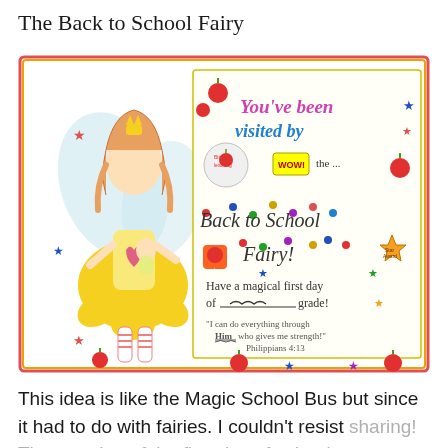The Back to School Fairy
[Figure (illustration): A hand-drawn illustration of the Back to School Fairy character on the left, wearing a yellow dress with wings, holding a small figure. On the right is a certificate-style card with colorful text reading 'You've been visited by the... Back to School Fairy!' with stickers of apples, stars, and the message 'Have a magical first day of ___ grade!' and a Bible verse 'I can do everything through Him who gives me strength! - Philippians 4:13']
This idea is like the Magic School Bus but since it had to do with fairies. I couldn't resist sharing! The morning of the first day of school